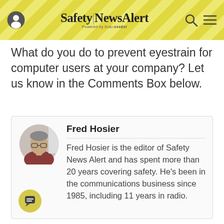Safety|NewsAlert - Powered by SuccessEel
What do you do to prevent eyestrain for computer users at your company? Let us know in the Comments Box below.
Fred Hosier
Fred Hosier is the editor of Safety News Alert and has spent more than 20 years covering safety. He's been in the communications business since 1985, including 11 years in radio.